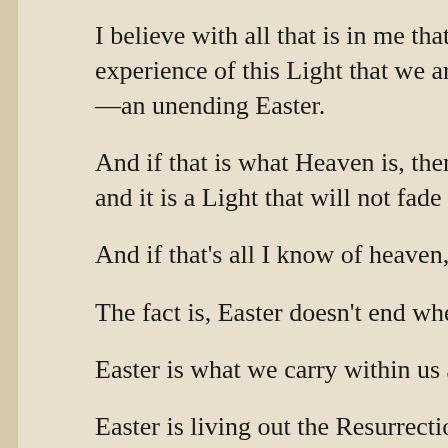I believe with all that is in me that it is very much the experience of this Light that we are celebrating —an unending Easter.
And if that is what Heaven is, then it is a joy and it is a Light that will not fade and grow d…
And if that's all I know of heaven, then that i…
The fact is, Easter doesn't end when the sun…
Easter is what we carry within us as Christia…
Easter is living out the Resurrection by our v…
As I have been preaching through the Seaso… the quote by the recently departed Bishop B…